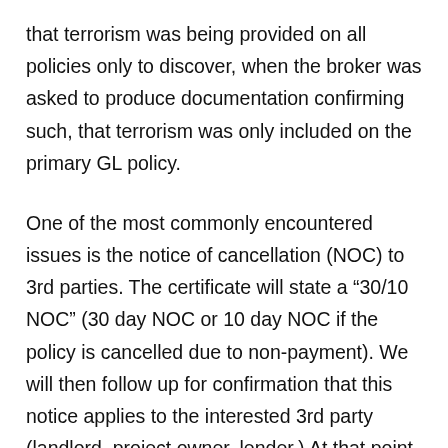that terrorism was being provided on all policies only to discover, when the broker was asked to produce documentation confirming such, that terrorism was only included on the primary GL policy.
One of the most commonly encountered issues is the notice of cancellation (NOC) to 3rd parties. The certificate will state a “30/10 NOC” (30 day NOC or 10 day NOC if the policy is cancelled due to non-payment). We will then follow up for confirmation that this notice applies to the interested 3rd party (landlord, project owner, lender.) At that point, a copy of the policy provision or endorsement is provided, and, more often than not, the NOC that has been referred